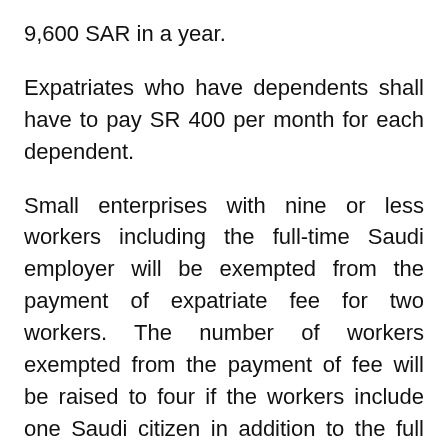9,600 SAR in a year.
Expatriates who have dependents shall have to pay SR 400 per month for each dependent.
Small enterprises with nine or less workers including the full-time Saudi employer will be exempted from the payment of expatriate fee for two workers. The number of workers exempted from the payment of fee will be raised to four if the workers include one Saudi citizen in addition to the full time employer.
News related to Expatriates, Iqama, Visa, Jawazat, Jobs, Real Estate, Insurance, Banking and more. Subscribe Us Now! and Keep